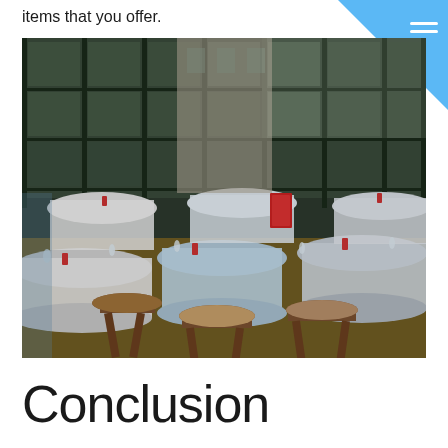items that you offer.
[Figure (photo): Interior of an upscale restaurant with wooden bar stools, tables covered with white tablecloths, red candles, glasses, and large green-framed windows in the background.]
Conclusion